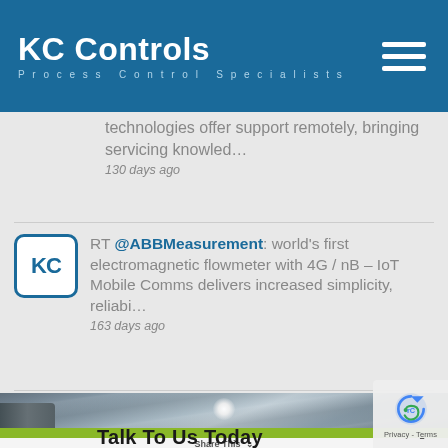KC Controls - Process Control Specialists
technologies offer support remotely, bringing servicing knowled…
130 days ago
RT @ABBMeasurement: world's first electromagnetic flowmeter with 4G / nB – IoT Mobile Comms delivers increased simplicity, reliabi…
163 days ago
[Figure (photo): Industrial ceiling with corrugated metal roof panels and bright overhead light, with green bar and 'Talk To Us Today' text overlay]
Share This
Talk To Us Today